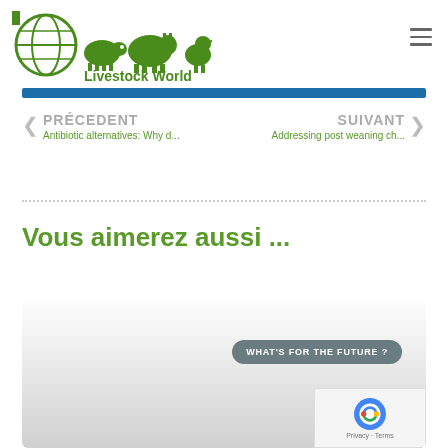[Figure (logo): Livestock World logo with globe and animal silhouettes (pig, cow, chicken) in green, with text 'Livestock World' below]
PRÉCEDENT
Antibiotic alternatives: Why d...
SUIVANT
Addressing post weaning ch...
Vous aimerez aussi ...
[Figure (screenshot): Card with gray gradient background and a badge reading 'WHAT'S FOR THE FUTURE ?']